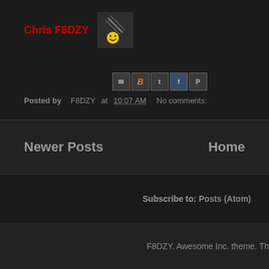[Figure (illustration): Blog post avatar/thumbnail: dark gray square with a key icon and a yellow smiley face emoji, representing the blog author Chris F8DZY]
Chris F8DZY
Posted by F8DZY at 10:07 AM   No comments:
Newer Posts
Home
Subscribe to: Posts (Atom)
F8DZY. Awesome Inc. theme. Th